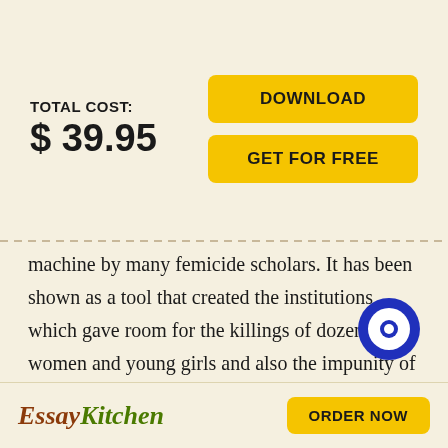TOTAL COST:
$ 39.95
DOWNLOAD
GET FOR FREE
machine by many femicide scholars. It has been shown as a tool that created the institutions which gave room for the killings of dozens of women and young girls and also the impunity of various crimes and even made validated them. Memorial objects including, memorial sites, monuments, graffiti, black and pink crosses, and anti-femicide protests that were photographed a disclosed that protest materials and bodies collecte
[Figure (logo): Blue circular chat/support icon with white circle and dot inside]
EssayKitchen
ORDER NOW